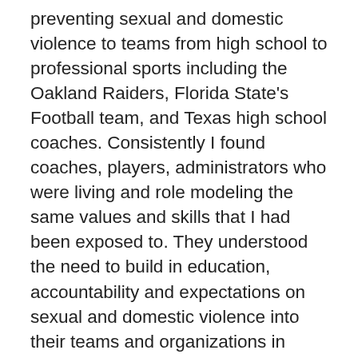preventing sexual and domestic violence to teams from high school to professional sports including the Oakland Raiders, Florida State's Football team, and Texas high school coaches. Consistently I found coaches, players, administrators who were living and role modeling the same values and skills that I had been exposed to. They understood the need to build in education, accountability and expectations on sexual and domestic violence into their teams and organizations in order to help their athletes be successful. They talked about wanting players and their programs to be the “example” for others on the issue. This is how sport is part of the solution to end sexual and domestic violence. By instilling prevention strategies into these modeled